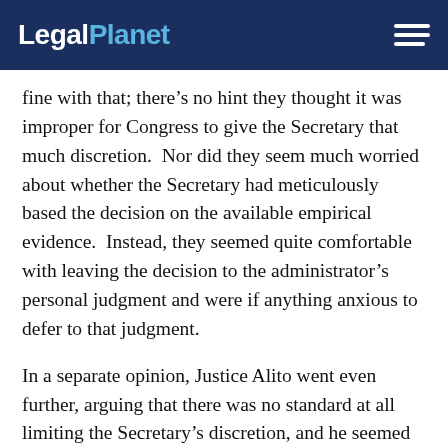LegalPlanet
fine with that; there’s no hint they thought it was improper for Congress to give the Secretary that much discretion.  Nor did they seem much worried about whether the Secretary had meticulously based the decision on the available empirical evidence.  Instead, they seemed quite comfortable with leaving the decision to the administrator’s personal judgment and were if anything anxious to defer to that judgment.
In a separate opinion, Justice Alito went even further, arguing that there was no standard at all limiting the Secretary’s discretion, and he seemed to have no problem with that free-wheeling delegation of authority.  According to Alito, “The provision that directly addresses this question is 13 U. S. C. §141(a),